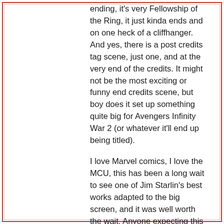ending, it's very Fellowship of the Ring, it just kinda ends and on one heck of a cliffhanger. And yes, there is a post credits tag scene, just one, and at the very end of the credits. It might not be the most exciting or funny end credits scene, but boy does it set up something quite big for Avengers Infinity War 2 (or whatever it'll end up being titled).
I love Marvel comics, I love the MCU, this has been a long wait to see one of Jim Starlin's best works adapted to the big screen, and it was well worth the wait. Anyone expecting this to be close to the comics will be disappointed, it's dramatically different but one should already expect that from how previous films have unfolded. There are also a lot of noticeable differences from the trailers to the final film, they clearly, purposely tricked us by creating shots in the trailers that couldn't possibly have been in the film. I can't really clarify without spoiling, but the trailers showed a lot of the Avengers in Wakanda fighting Thano's henchmen, the Black Order, and that plays out different than